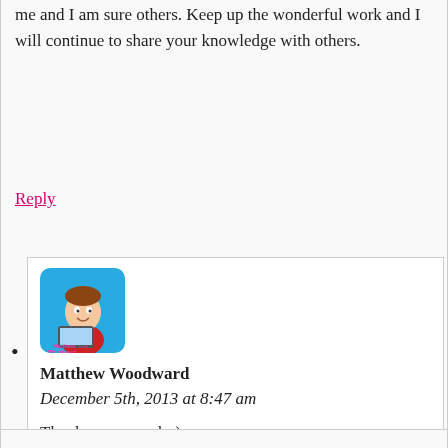me and I am sure others. Keep up the wonderful work and I will continue to share your knowledge with others.
Reply
[Figure (illustration): Avatar/logo image for Matthew Woodward blog - cartoon character sitting at laptop with blue background, rounded square shape, MatthewWoodward.co.uk branding]
Matthew Woodward
December 5th, 2013 at 8:47 am
Thanks very much :)
Reply